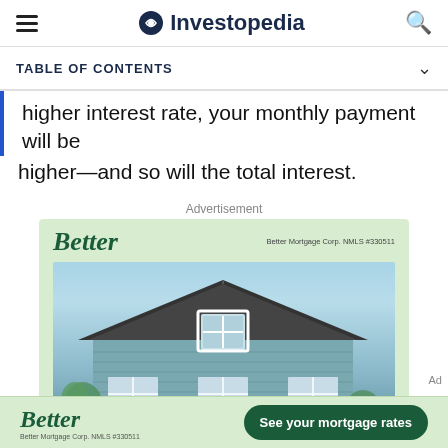Investopedia
TABLE OF CONTENTS
higher interest rate, your monthly payment will be higher—and so will the total interest.
Advertisement
[Figure (photo): Better Mortgage advertisement showing a house with triangular roof under blue sky, with 'Better' logo and 'Better Mortgage Corp. NMLS #330511' text. Includes a bottom banner with 'Better' logo and 'See your mortgage rates' button.]